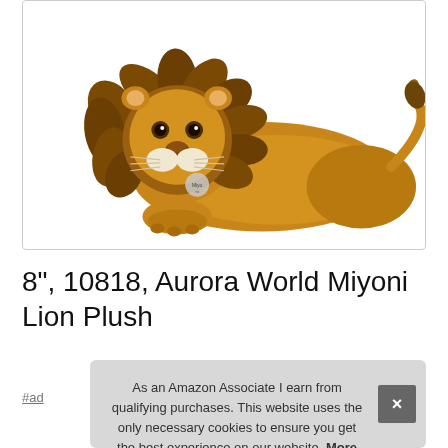[Figure (photo): A stuffed plush lion toy (Aurora World Miyoni Lion) lying down with golden-brown fur and a flowing mane, photographed on a white background. A small tag is visible near the chin.]
8", 10818, Aurora World Miyoni Lion Plush
#ad
As an Amazon Associate I earn from qualifying purchases. This website uses the only necessary cookies to ensure you get the best experience on our website. More information